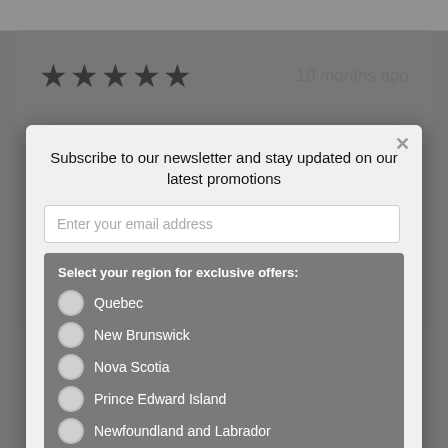★★★★★  10 months ago
Subscribe to our newsletter and stay updated on our latest promotions
Enter your email address
Select your region for exclusive offers:
Quebec
New Brunswick
Nova Scotia
Prince Edward Island
Newfoundland and Labrador
Sign up
Hello Suzanne,
Thank you very much for taking the time to share with us your review for this product.